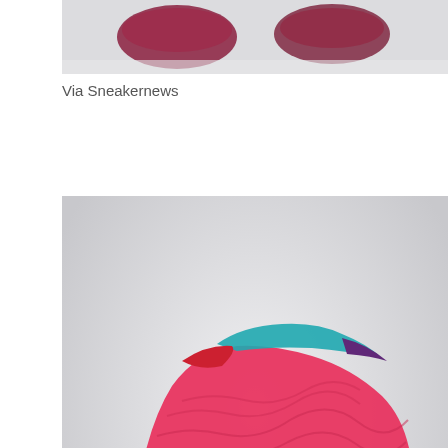[Figure (photo): Cropped top portion of a sneaker image, showing partial view of colorful Reebok sneakers against a light gray background.]
Via Sneakernews
[Figure (photo): Bottom sole view of a Reebok sneaker with bright pink/red wavy-patterned outsole and green Reebok vector logo, with colorful upper visible at top (teal, red, purple), photographed against white/light gray background.]
Via Sneakernews
[Figure (photo): Partially visible bottom portion of another sneaker image, cropped at page edge, showing warm yellow/gold tones.]